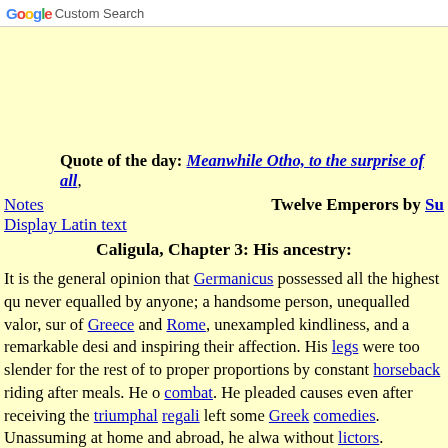Google Custom Search
Quote of the day: Meanwhile Otho, to the surprise of all,
Notes   Twelve Emperors by Suetonius
Display Latin text
Caligula, Chapter 3: His ancestry:
It is the general opinion that Germanicus possessed all the highest qualities, never equalled by anyone; a handsome person, unequalled valor, surpassing knowledge of Greece and Rome, unexampled kindliness, and a remarkable desire of winning and inspiring their affection. His legs were too slender for the rest of his body, but he brought them to proper proportions by constant horseback riding after meals. He often slew a foe in single combat. He pleaded causes even after receiving the triumphal regalia. He even left some Greek comedies. Unassuming at home and abroad, he always entered towns without lictors. Wherever he came upon the tombs of distinguished men, he made offerings to their shades. Planning to bury in one mound the old and scattered relics of those who fell at Varus, he was the first to attempt to collect and assemble them with his own hands. Towards his detractors, whosoever they were and whatever their motives, he was so mild and free from resentment, that when decrees and maltreating his dependents, he could not make up his mind to break off the friendship. himself assailed also by potions and spells. Even then he went no farther than to renounce the friendship in the old-time fashion, and to bid his household avenge his death.